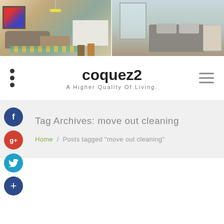[Figure (photo): Header banner with two room photos: a modern living room/kitchen on the left and a bedroom on the right]
coquez2
A Higher Quality Of Living.
Tag Archives: move out cleaning
Home / Posts tagged "move out cleaning"